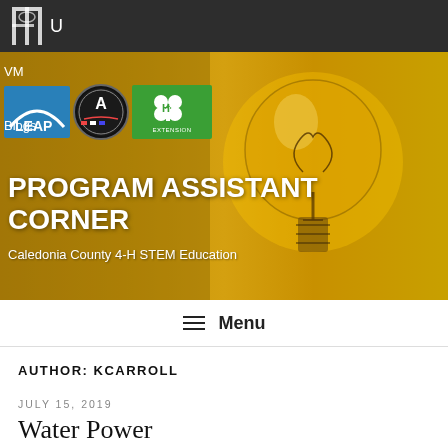U
[Figure (screenshot): Hero banner with lightbulb photo, LEAP, AmeriCorps, and 4-H Extension logos, and text 'PROGRAM ASSISTANT CORNER - Caledonia County 4-H STEM Education']
PROGRAM ASSISTANT CORNER
Caledonia County 4-H STEM Education
≡ Menu
AUTHOR: KCARROLL
JULY 15, 2019
Water Power